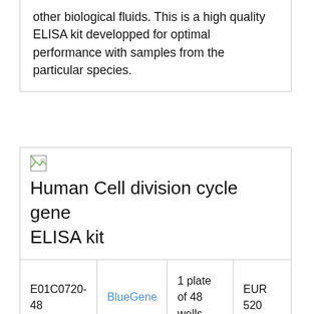other biological fluids. This is a high quality ELISA kit developped for optimal performance with samples from the particular species.
[Figure (other): Small broken image icon placeholder]
Human Cell division cycle gene ELISA kit
|  |  |  |  |
| --- | --- | --- | --- |
| E01C0720-48 | BlueGene | 1 plate of 48 wells | EUR 520 |
Description: A competitive ELISA for quantitative measurement of Human Cell division cycle gene in samples from blood, plasma, serum, cell culture supernatant and other biological fluids. This is a high qualit...